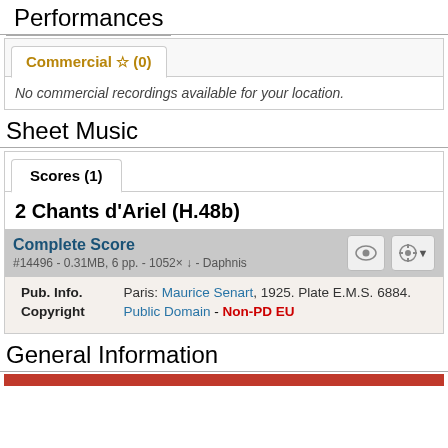Performances
| Commercial ☆ (0) | No commercial recordings available for your location. |
Sheet Music
Scores (1)
2 Chants d'Ariel (H.48b)
| Complete Score | #14496 - 0.31MB, 6 pp. - 1052× ↓ - Daphnis | Pub. Info. | Paris: Maurice Senart, 1925. Plate E.M.S. 6884. | Copyright | Public Domain - Non-PD EU |
General Information